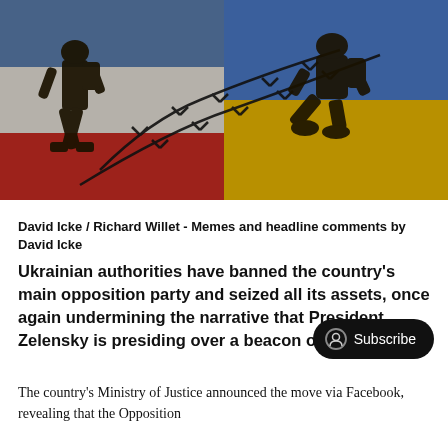[Figure (illustration): Illustration showing two soldiers silhouetted against a split background of the Russian flag (blue, red) on the left and the Ukrainian flag (blue, yellow) on the right, connected by barbed wire.]
David Icke  /  Richard Willet - Memes and headline comments by David Icke
Ukrainian authorities have banned the country's main opposition party and seized all its assets, once again undermining the narrative that President Zelensky is presiding over a beacon of democracy.
The country's Ministry of Justice announced the move via Facebook, revealing that the Opposition